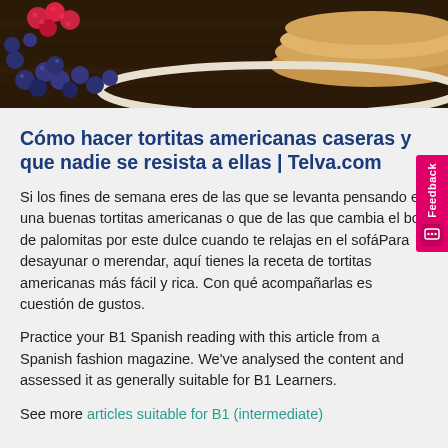[Figure (photo): Top portion of a food photograph showing pancakes on a dark plate with blueberries and raspberries scattered around, on a dark wooden surface]
Cómo hacer tortitas americanas caseras y que nadie se resista a ellas | Telva.com
Si los fines de semana eres de las que se levanta pensando en una buenas tortitas americanas o que de las que cambia el bol de palomitas por este dulce cuando te relajas en el sofáPara desayunar o merendar, aquí tienes la receta de tortitas americanas más fácil y rica. Con qué acompañarlas es cuestión de gustos.
Practice your B1 Spanish reading with this article from a Spanish fashion magazine. We've analysed the content and assessed it as generally suitable for B1 Learners.
See more articles suitable for B1 (intermediate)